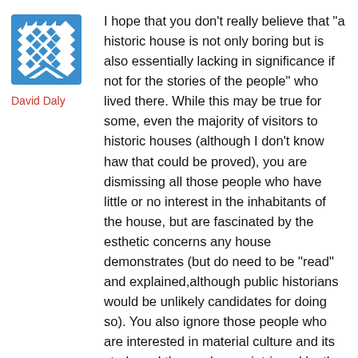[Figure (illustration): Blue diamond-pattern avatar icon for user David Daly]
David Daly
I hope that you don’t really believe that “a historic house is not only boring but is also essentially lacking in significance if not for the stories of the people” who lived there. While this may be true for some, even the majority of visitors to historic houses (although I don’t know haw that could be proved), you are dismissing all those people who have little or no interest in the inhabitants of the house, but are fascinated by the esthetic concerns any house demonstrates (but do need to be “read” and explained,although public historians would be unlikely candidates for doing so). You also ignore those people who are interested in material culture and its study and those who are intrigued by the technology of historic preservation and even the history itself of